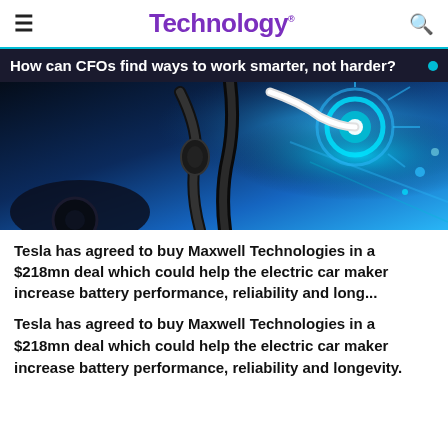Technology.
How can CFOs find ways to work smarter, not harder?
[Figure (photo): Electric vehicle being charged with blue glowing light effects in the background, showing charging cables connected to an EV]
Tesla has agreed to buy Maxwell Technologies in a $218mn deal which could help the electric car maker increase battery performance, reliability and long...
Tesla has agreed to buy Maxwell Technologies in a $218mn deal which could help the electric car maker increase battery performance, reliability and longevity.